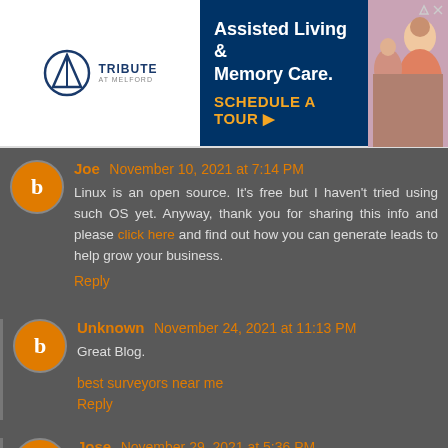[Figure (other): Advertisement banner for Tribute at Melford Assisted Living & Memory Care. White and dark blue banner with logo on left and 'Assisted Living & Memory Care. SCHEDULE A TOUR ▶' text on right. Photo of elderly person on far right.]
Joe November 10, 2021 at 7:14 PM
Linux is an open source. It's free but I haven't tried using such OS yet. Anyway, thank you for sharing this info and please click here and find out how you can generate leads to help grow your business.
Reply
Unknown November 24, 2021 at 11:13 PM
Great Blog.
best surveyors near me
Reply
Jose November 29, 2021 at 5:36 PM